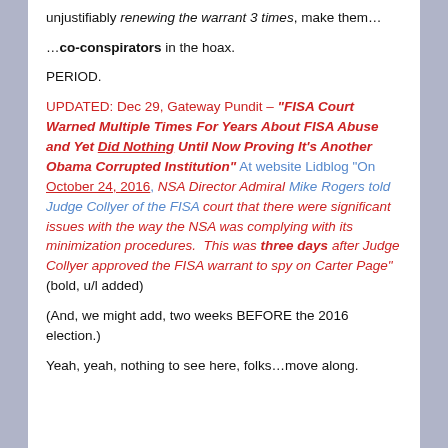unjustifiably renewing the warrant 3 times, make them…
…co-conspirators in the hoax.
PERIOD.
UPDATED: Dec 29, Gateway Pundit – "FISA Court Warned Multiple Times For Years About FISA Abuse and Yet Did Nothing Until Now Proving It's Another Obama Corrupted Institution" At website Lidblog "On October 24, 2016, NSA Director Admiral Mike Rogers told Judge Collyer of the FISA court that there were significant issues with the way the NSA was complying with its minimization procedures. This was three days after Judge Collyer approved the FISA warrant to spy on Carter Page" (bold, u/l added)
(And, we might add, two weeks BEFORE the 2016 election.)
Yeah, yeah, nothing to see here, folks…move along.